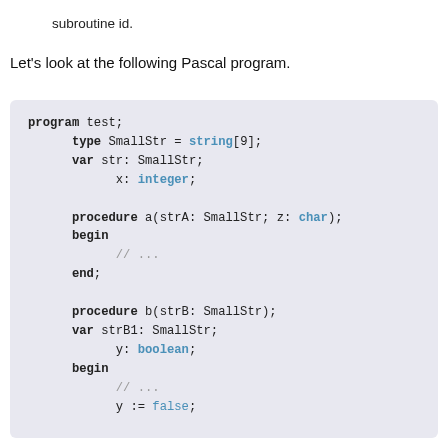subroutine id.
Let's look at the following Pascal program.
[Figure (screenshot): Pascal code block showing program test with type SmallStr = string[9], var str: SmallStr, x: integer, procedure a(strA: SmallStr; z: char) with begin/end, procedure b(strB: SmallStr) with var strB1: SmallStr, y: boolean, begin, // ..., y := false;]